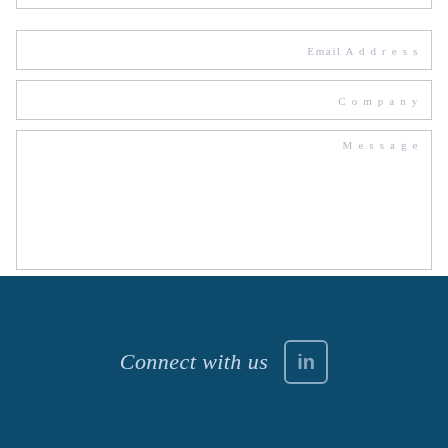[Figure (other): Contact form fields: Email Address input, Company input, Message textarea, and a red Submit button]
Connect with us [LinkedIn icon]